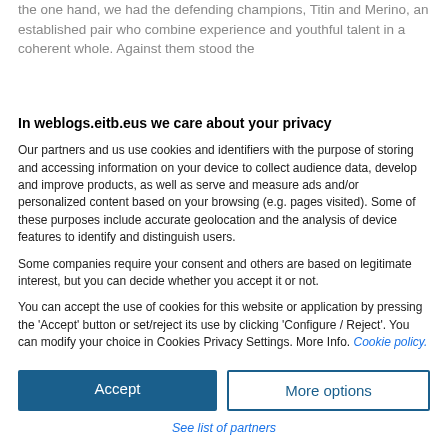the one hand, we had the defending champions, Titin and Merino, an established pair who combine experience and youthful talent in a coherent whole. Against them stood the
In weblogs.eitb.eus we care about your privacy
Our partners and us use cookies and identifiers with the purpose of storing and accessing information on your device to collect audience data, develop and improve products, as well as serve and measure ads and/or personalized content based on your browsing (e.g. pages visited). Some of these purposes include accurate geolocation and the analysis of device features to identify and distinguish users.
Some companies require your consent and others are based on legitimate interest, but you can decide whether you accept it or not.
You can accept the use of cookies for this website or application by pressing the 'Accept' button or set/reject its use by clicking 'Configure / Reject'. You can modify your choice in Cookies Privacy Settings. More Info. Cookie policy.
Accept
More options
See list of partners
Sibb° ver 125.38